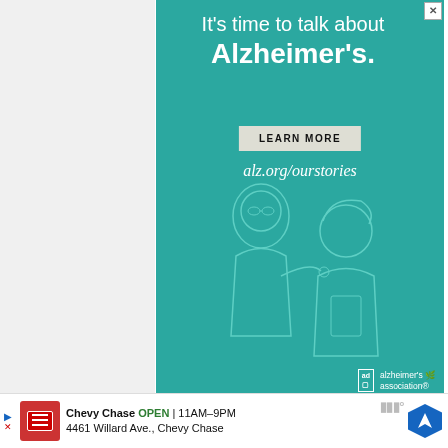[Figure (advertisement): Alzheimer's Association advertisement on teal background with illustrated elderly people. Text: 'It's time to talk about Alzheimer's.' with LEARN MORE button and alz.org/ourstories URL. Alzheimer's association logo at bottom right.]
WHAT'S NEXT → Why Are My Tomatoes N...
You can get the soil in your garden tested before planting the tomatoes. You send a few samples of
[Figure (advertisement): Bottom banner ad for Chevy Chase restaurant/business. Logo in red, text: Chevy Chase OPEN 11AM-9PM 4461 Willard Ave., Chevy Chase. Blue navigation icon on right.]